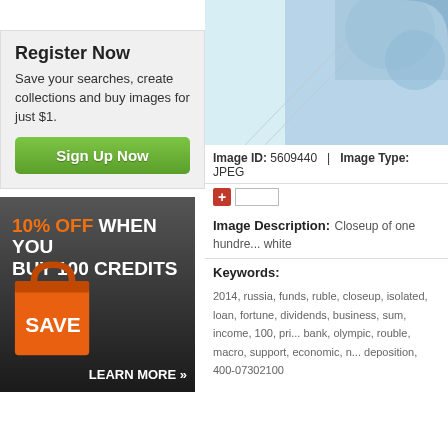Register Now
Save your searches, create collections and buy images for just $1.
[Figure (screenshot): Green Sign Up Now button]
[Figure (infographic): 10% OFF WHEN YOU BUY 100 CREDITS - SAVE - LEARN MORE advertisement banner with orange shopping bag on dark background]
[Figure (photo): Closeup of Russian ruble banknote with blue tones, partially visible]
Image ID: 5609440  |  Image Type: JPEG
Image Description: Closeup of one hundred... white
Keywords:
2014, russia, funds, ruble, closeup, isolated, loan, fortune, dividends, business, sum, income, 100, pri... bank, olympic, rouble, macro, support, economic, n... deposition, 400-07302100